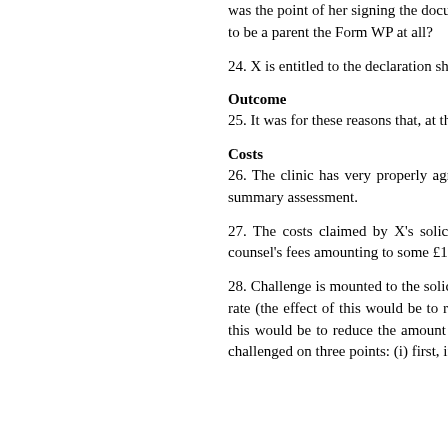was the point of her signing the document if it was not an acknowledgment that X was to be a parent? Why else sign the Form WP at all?
24. X is entitled to the declaration she seeks.
Outcome
25. It was for these reasons that, at the conclusion of the hearing, I made the terms sought by X.
Costs
26. The clinic has very properly agreed to pay X's costs, subject to the appropriate amount. Both parties have agreed to a summary assessment.
27. The costs claimed by X's solicitors are as follows: solicitors' costs amounting to £11,500 (excluding VAT); counsel's fees amounting to some £13,360 (excluding VAT); and other disbursements to £515.
28. Challenge is mounted to the solicitors' costs in two respects: the Grade A Partner's hourly rate of £250 should be at a lower rate (the effect of this would be to reduce the costs by £750); said that a total of 6½ hours should be charged, the effect of this would be to reduce the amount claimed. The number and number of letters and emails have been questioned. Counsel is challenged on three points: (i) first, in relation to the authorities; (ii) next, in relation to 6 ho